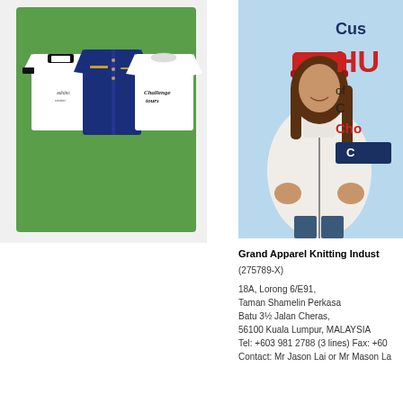[Figure (photo): Three t-shirts displayed on a green background: white ringer tee with black collar on left, dark navy shirt in center, white shirt with script logo on right]
[Figure (photo): Advertisement banner showing woman wearing red knit hat and white zip-up fleece jacket. Text reads 'Cus' (Custom), 'HU' in large red letters, 'of', 'C', 'Cho' (Choice), and a dark button at the bottom. Partially cropped on right side.]
Grand Apparel Knitting Indust...
(275789-X)
18A, Lorong 6/E91, Taman Shamelin Perkasa Batu 3½ Jalan Cheras, 56100 Kuala Lumpur, MALAYSIA Tel: +603 981 2788 (3 lines) Fax: +60... Contact: Mr Jason Lai or Mr Mason La...